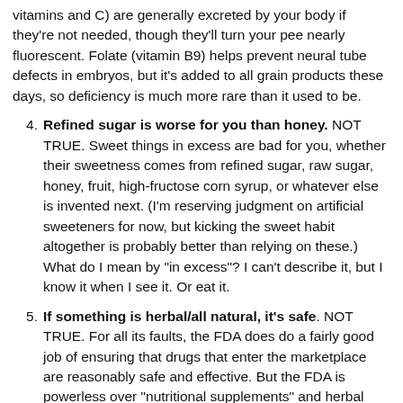vitamins and C) are generally excreted by your body if they're not needed, though they'll turn your pee nearly fluorescent. Folate (vitamin B9) helps prevent neural tube defects in embryos, but it's added to all grain products these days, so deficiency is much more rare than it used to be.
4. Refined sugar is worse for you than honey. NOT TRUE. Sweet things in excess are bad for you, whether their sweetness comes from refined sugar, raw sugar, honey, fruit, high-fructose corn syrup, or whatever else is invented next. (I'm reserving judgment on artificial sweeteners for now, but kicking the sweet habit altogether is probably better than relying on these.) What do I mean by "in excess"? I can't describe it, but I know it when I see it. Or eat it.
5. If something is herbal/all natural, it's safe. NOT TRUE. For all its faults, the FDA does do a fairly good job of ensuring that drugs that enter the marketplace are reasonably safe and effective. But the FDA is powerless over "nutritional supplements" and herbal